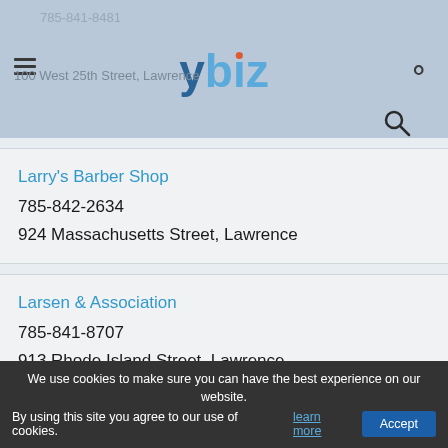785-841-8481 | 100 West 25th Street, Lawrence | ybiz
Larry's Barber Shop
785-842-2634
924 Massachusetts Street, Lawrence
Larsen & Association
785-841-8707
913 Rhode Island Street, Lawrence
Larussa Real Estate
785-842-9898
2400 Ponderosa Drive Lawrence, Lawrence
We use cookies to make sure you can have the best experience on our website. By using this site you agree to our use of cookies. learn more Accept